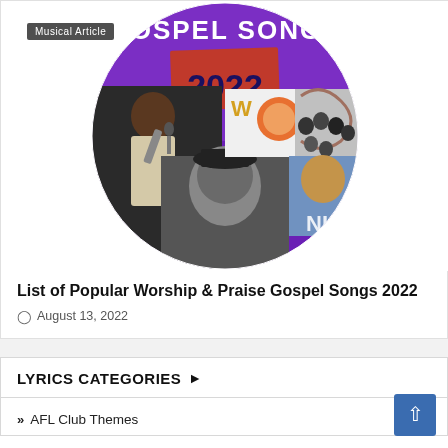[Figure (photo): Circular collage image featuring Gospel Songs 2022 with multiple gospel artists on a purple background. A badge reads 'Musical Article' in the top left corner.]
List of Popular Worship & Praise Gospel Songs 2022
August 13, 2022
LYRICS CATEGORIES
AFL Club Themes